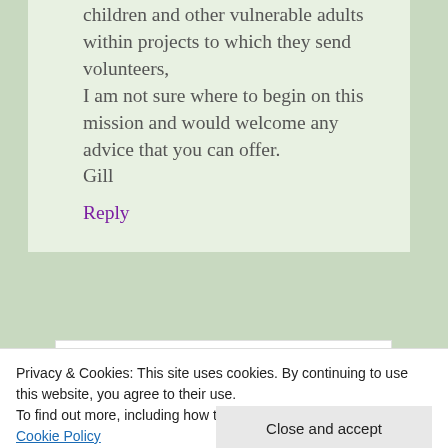children and other vulnerable adults within projects to which they send volunteers,
I am not sure where to begin on this mission and would welcome any advice that you can offer.
Gill
Reply
[Figure (photo): Avatar photo of Gretta Schifano]
Gretta Schifano
Privacy & Cookies: This site uses cookies. By continuing to use this website, you agree to their use.
To find out more, including how to control cookies, see here: Cookie Policy
Close and accept
hear, and it's great that